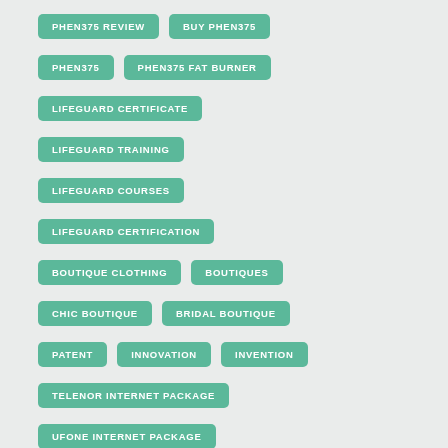PHEN375 REVIEW
BUY PHEN375
PHEN375
PHEN375 FAT BURNER
LIFEGUARD CERTIFICATE
LIFEGUARD TRAINING
LIFEGUARD COURSES
LIFEGUARD CERTIFICATION
BOUTIQUE CLOTHING
BOUTIQUES
CHIC BOUTIQUE
BRIDAL BOUTIQUE
PATENT
INNOVATION
INVENTION
TELENOR INTERNET PACKAGE
UFONE INTERNET PACKAGE
JAZZ INTERNET PACKAGE
OPENSTACK LATEST RELEASE